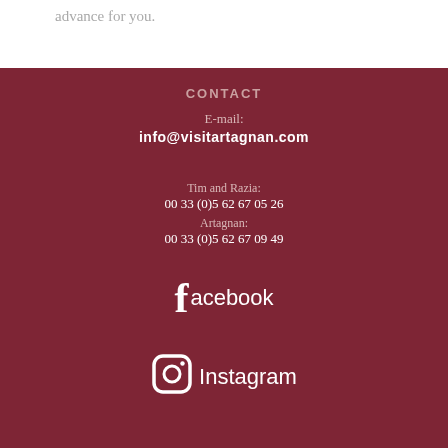advance for you.
CONTACT
E-mail:
info@visitartagnan.com
Tim and Razia:
00 33 (0)5 62 67 05 26
Artagnan:
00 33 (0)5 62 67 09 49
[Figure (logo): Facebook logo with text 'facebook']
[Figure (logo): Instagram logo with text 'Instagram']